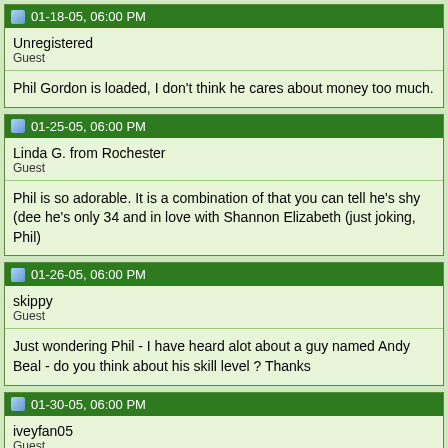01-18-05, 06:00 PM
Unregistered
Guest
Phil Gordon is loaded, I don't think he cares about money too much.
01-25-05, 06:00 PM
Linda G. from Rochester
Guest
Phil is so adorable. It is a combination of that you can tell he's shy (dee he's only 34 and in love with Shannon Elizabeth (just joking, Phil)
01-26-05, 06:00 PM
skippy
Guest
Just wondering Phil - I have heard alot about a guy named Andy Beal - do you think about his skill level ? Thanks
01-30-05, 06:00 PM
iveyfan05
Guest
andy beal is a texas bilionaire that sits in the big game at the bellagio a t...his likes dev...